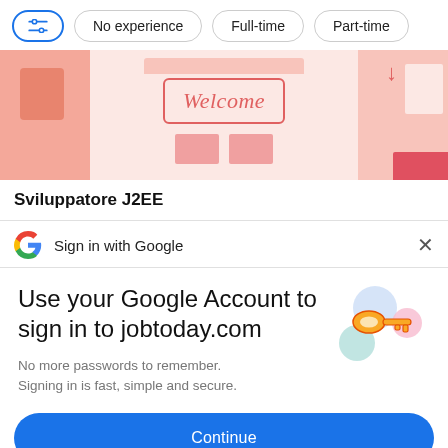[Figure (screenshot): Filter/tag toolbar with icons for No experience, Full-time, Part-time]
[Figure (illustration): Pink illustrated banner showing a storefront with a Welcome sign]
Sviluppatore J2EE
[Figure (screenshot): Google Sign in with Google dialog header with G logo and X close button]
Use your Google Account to sign in to jobtoday.com
No more passwords to remember. Signing in is fast, simple and secure.
[Figure (illustration): Google sign-in illustration with a golden key and colorful circles]
[Figure (screenshot): Blue Continue button]